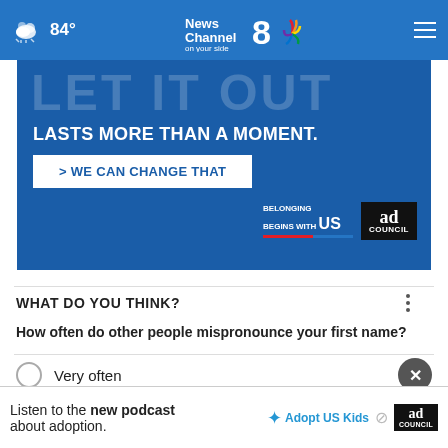84° News Channel 8 on your side
[Figure (screenshot): Ad banner: 'LET IT OUT LASTS MORE THAN A MOMENT. > WE CAN CHANGE THAT' with Belonging Begins With US and Ad Council logos on blue background]
WHAT DO YOU THINK?
How often do other people mispronounce your first name?
Very often
[Figure (screenshot): Bottom ad strip: Listen to the new podcast about adoption. Adopt US Kids logo, government badge, Ad Council badge]